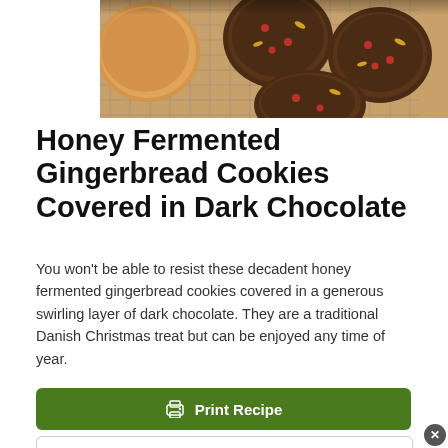[Figure (photo): Overhead photo of gingerbread cookies on a wire cooling rack, some plain/golden and several covered in dark chocolate with red peppercorns and gold decorative flakes]
Honey Fermented Gingerbread Cookies Covered in Dark Chocolate
You won't be able to resist these decadent honey fermented gingerbread cookies covered in a generous swirling layer of dark chocolate. They are a traditional Danish Christmas treat but can be enjoyed any time of year.
Print Recipe
Pin Recipe